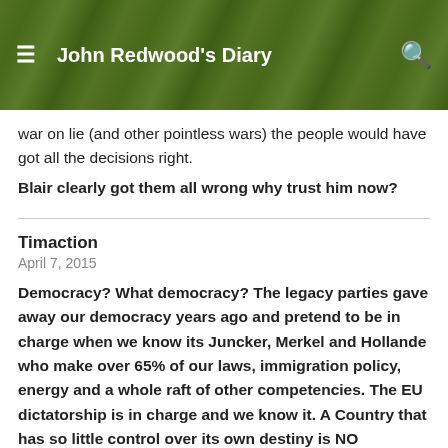John Redwood's Diary
war on lie (and other pointless wars) the people would have got all the decisions right.
Blair clearly got them all wrong why trust him now?
Timaction
April 7, 2015
Democracy? What democracy? The legacy parties gave away our democracy years ago and pretend to be in charge when we know its Juncker, Merkel and Hollande who make over 65% of our laws, immigration policy, energy and a whole raft of other competencies. The EU dictatorship is in charge and we know it. A Country that has so little control over its own destiny is NO sovereign Country at all.